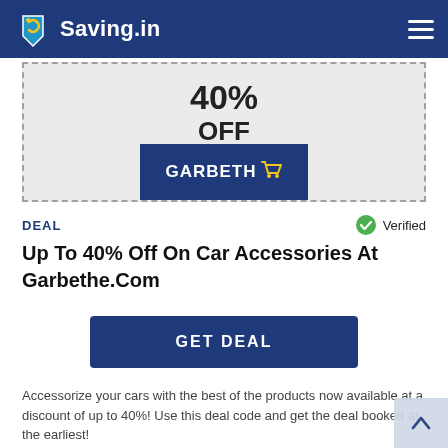Saving.in
[Figure (screenshot): Coupon box showing 40% OFF with Garbeth brand logo on dark blue background]
DEAL
Verified
Up To 40% Off On Car Accessories At Garbethe.Com
GET DEAL
Accessorize your cars with the best of the products now available at a discount of up to 40%! Use this deal code and get the deal booked at the earliest!